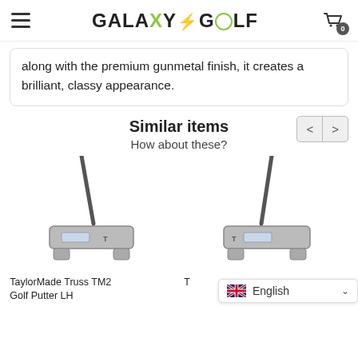GALAXY GOLF
along with the premium gunmetal finish, it creates a brilliant, classy appearance.
Similar items
How about these?
[Figure (photo): TaylorMade Truss TM2 Golf Putter LH - left side view of a gunmetal finish mallet putter]
[Figure (photo): TaylorMade Truss TM2 Golf Putter - right side view of a gunmetal finish mallet putter]
TaylorMade Truss TM2 Golf Putter LH
T